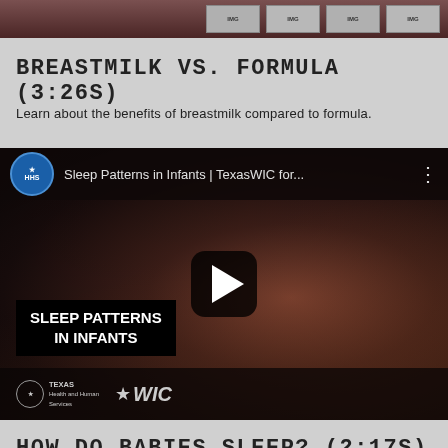[Figure (screenshot): Top strip showing partial product images or video thumbnails cropped at the top of the page]
BREASTMILK VS. FORMULA (3:26S)
Learn about the benefits of breastmilk compared to formula.
[Figure (screenshot): YouTube video embed for 'Sleep Patterns in Infants | TexasWIC for...' showing a sleeping baby, HHS logo, play button, and SLEEP PATTERNS IN INFANTS text overlay with Texas WIC branding in the footer]
HOW DO BABIES SLEEP? (2:17S)